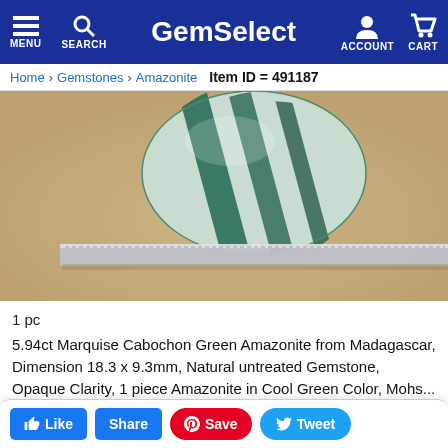GemSelect — MENU SEARCH ACCOUNT CART
Home  Gemstones  Amazonite  Item ID = 491187
[Figure (photo): Close-up photograph of a marquise cabochon green amazonite gemstone from Madagascar, showing green and white striped pattern, resting against a metal ruler on a beige/tan background.]
1 pc
5.94ct Marquise Cabochon Green Amazonite from Madagascar, Dimension 18.3 x 9.3mm, Natural untreated Gemstone, Opaque Clarity, 1 piece Amazonite in Cool Green Color, Mohs...
5.9ct